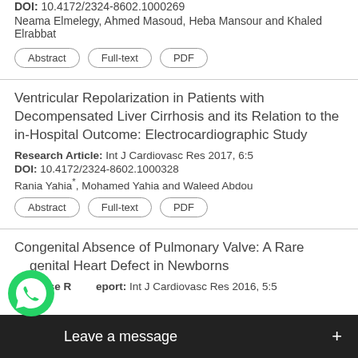DOI: 10.4172/2324-8602.1000269
Neama Elmelegy, Ahmed Masoud, Heba Mansour and Khaled Elrabbat
Ventricular Repolarization in Patients with Decompensated Liver Cirrhosis and its Relation to the in-Hospital Outcome: Electrocardiographic Study
Research Article: Int J Cardiovasc Res 2017, 6:5
DOI: 10.4172/2324-8602.1000328
Rania Yahia*, Mohamed Yahia and Waleed Abdou
Congenital Absence of Pulmonary Valve: A Rare Congenital Heart Defect in Newborns
Case Report: Int J Cardiovasc Res 2016, 5:5
Luvd... h Bhat Y, Jayeshree P, Naill...